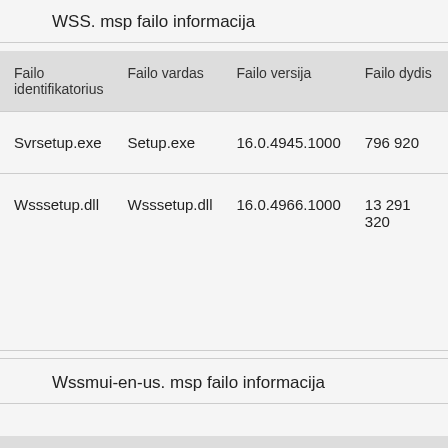WSS. msp failo informacija
| Failo identifikatorius | Failo vardas | Failo versija | Failo dydis |
| --- | --- | --- | --- |
| Svrsetup.exe | Setup.exe | 16.0.4945.1000 | 796 920 |
| Wsssetup.dll | Wsssetup.dll | 16.0.4966.1000 | 13 291 320 |
Wssmui-en-us. msp failo informacija